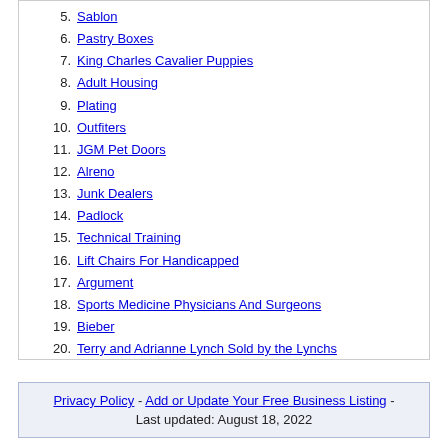5. Sablon
6. Pastry Boxes
7. King Charles Cavalier Puppies
8. Adult Housing
9. Plating
10. Outfiters
11. JGM Pet Doors
12. Alreno
13. Junk Dealers
14. Padlock
15. Technical Training
16. Lift Chairs For Handicapped
17. Argument
18. Sports Medicine Physicians And Surgeons
19. Bieber
20. Terry and Adrianne Lynch Sold by the Lynchs
Privacy Policy - Add or Update Your Free Business Listing - Last updated: August 18, 2022